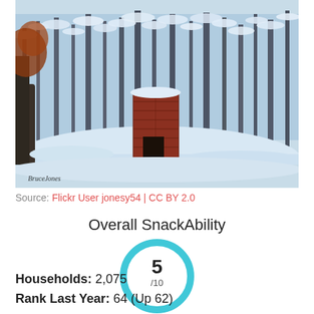[Figure (photo): Winter snow scene with snow-covered trees and a red brick chimney/structure in a forest. Photo signed 'BruceJones' in the lower left corner.]
Source: Flickr User jonesy54 | CC BY 2.0
Overall SnackAbility
[Figure (infographic): Circular score indicator showing 5/10 with a thick cyan/turquoise ring border on white background.]
Households: 2,075
Rank Last Year: 64 (Up 62)